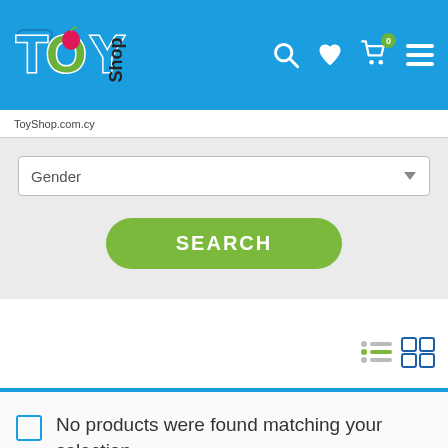[Figure (logo): ToyShop logo with colorful letters T, O, Y and 'Shop' text on blue header background]
ToyShop.com.cy
Gender
SEARCH
[Figure (other): List view and grid view toggle icons]
No products were found matching your selection.